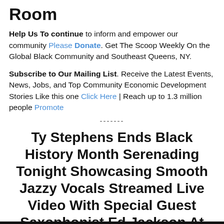Room
Help Us To continue to inform and empower our community Please Donate. Get The Scoop Weekly On the Global Black Community and Southeast Queens, NY.
Subscribe to Our Mailing List. Receive the Latest Events, News, Jobs, and Top Community Economic Development Stories Like this one Click Here | Reach up to 1.3 million people Promote
-------
Ty Stephens Ends Black History Month Serenading Tonight Showcasing Smooth Jazzy Vocals Streamed Live Video With Special Guest Saxophonist Ed Jackson At Jackson Room